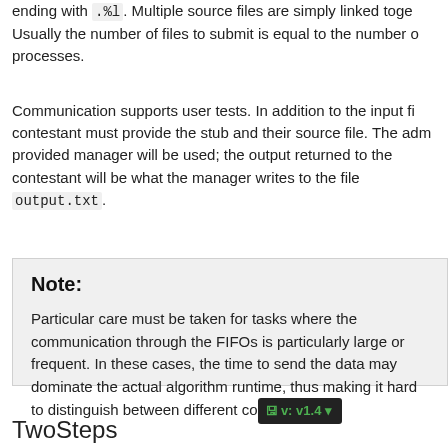ending with .%l. Multiple source files are simply linked together. Usually the number of files to submit is equal to the number of processes.
Communication supports user tests. In addition to the input files, the contestant must provide the stub and their source file. The administrator-provided manager will be used; the output returned to the contestant will be what the manager writes to the file output.txt.
Note:
Particular care must be taken for tasks where the communication through the FIFOs is particularly large or frequent. In these cases, the time to send the data may dominate the actual algorithm runtime, thus making it hard to distinguish between different co... v: v1.4
TwoSteps